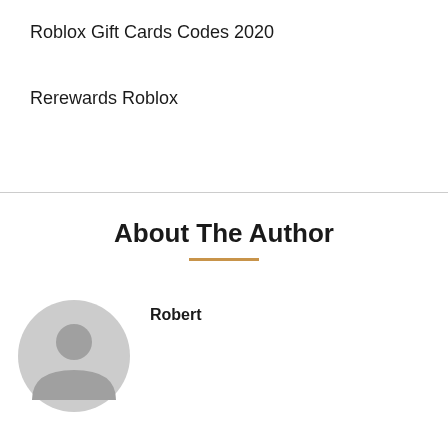Roblox Gift Cards Codes 2020
Rerewards Roblox
About The Author
[Figure (illustration): Generic grey user avatar icon — circular silhouette with head and shoulders]
Robert